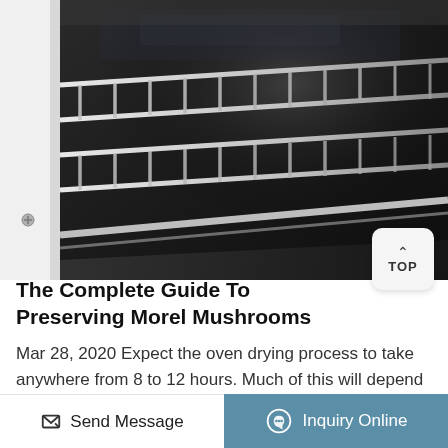[Figure (photo): Close-up interior of an oven showing chrome/metal racks and reflective dark walls, viewed from the front at an angle.]
The Complete Guide To Preserving Morel Mushrooms
Mar 28, 2020 Expect the oven drying process to take anywhere from 8 to 12 hours. Much of this will depend on the size of the morels. Slicing in quarters or halving the morels will reduce the time as well. Remember to monitor the temperature